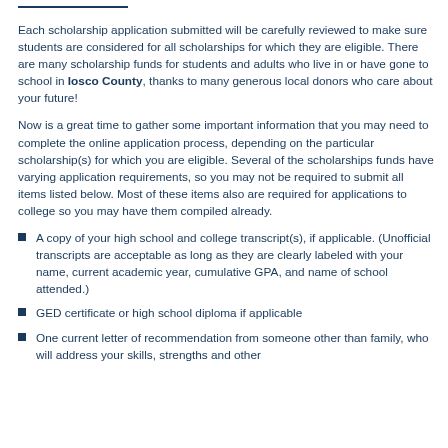Each scholarship application submitted will be carefully reviewed to make sure students are considered for all scholarships for which they are eligible. There are many scholarship funds for students and adults who live in or have gone to school in Iosco County, thanks to many generous local donors who care about your future!
Now is a great time to gather some important information that you may need to complete the online application process, depending on the particular scholarship(s) for which you are eligible. Several of the scholarships funds have varying application requirements, so you may not be required to submit all items listed below. Most of these items also are required for applications to college so you may have them compiled already.
A copy of your high school and college transcript(s), if applicable. (Unofficial transcripts are acceptable as long as they are clearly labeled with your name, current academic year, cumulative GPA, and name of school attended.)
GED certificate or high school diploma if applicable
One current letter of recommendation from someone other than family, who will address your skills, strengths and other